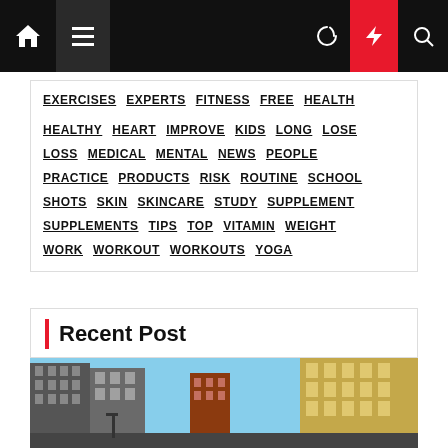Navigation bar with home icon, hamburger menu, moon icon, lightning bolt icon (red), search icon
EXERCISES
EXPERTS
FITNESS
FREE
HEALTH
HEALTHY
HEART
IMPROVE
KIDS
LONG
LOSE
LOSS
MEDICAL
MENTAL
NEWS
PEOPLE
PRACTICE
PRODUCTS
RISK
ROUTINE
SCHOOL
SHOTS
SKIN
SKINCARE
STUDY
SUPPLEMENT
SUPPLEMENTS
TIPS
TOP
VITAMIN
WEIGHT
WORK
WORKOUT
WORKOUTS
YOGA
Recent Post
[Figure (photo): City street scene with buildings under blue sky]